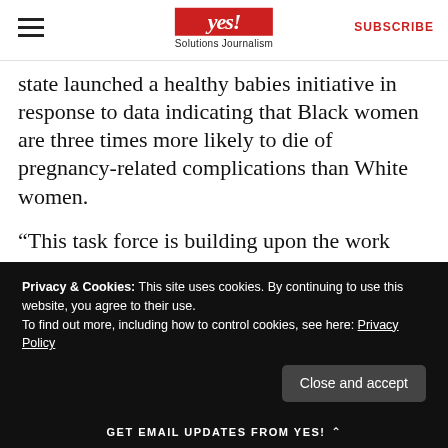yes! Solutions Journalism | SUBSCRIBE
state launched a healthy babies initiative in response to data indicating that Black women are three times more likely to die of pregnancy-related complications than White women.
“This task force is building upon the work we’ve already done to address racial disparity,” says Lt. Gov. Gilchrist, who leads the task force. “There are things we’ll learn from this that will relate to other social determinants of health.”
Privacy & Cookies: This site uses cookies. By continuing to use this website, you agree to their use.
To find out more, including how to control cookies, see here: Privacy Policy
GET EMAIL UPDATES FROM YES!